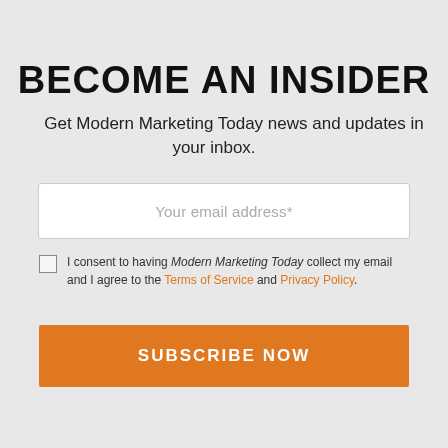BECOME AN INSIDER
Get Modern Marketing Today news and updates in your inbox.
Your email address*
I consent to having Modern Marketing Today collect my email and I agree to the Terms of Service and Privacy Policy.
SUBSCRIBE NOW